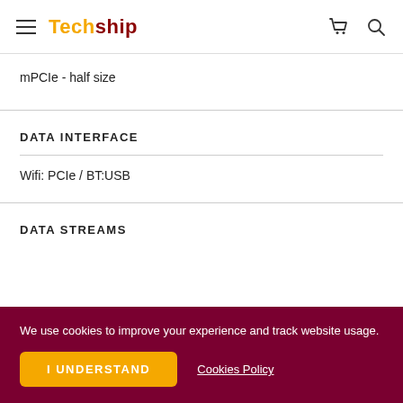Techship
mPCIe - half size
DATA INTERFACE
Wifi: PCIe / BT:USB
DATA STREAMS
We use cookies to improve your experience and track website usage.
I UNDERSTAND
Cookies Policy